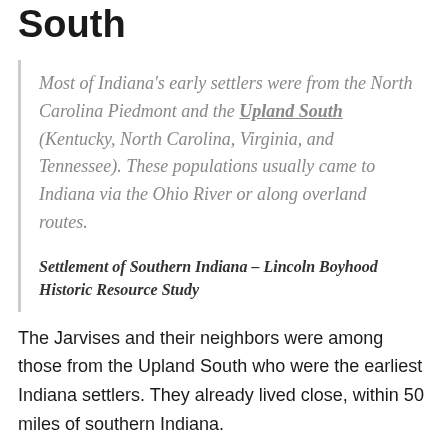South
Most of Indiana's early settlers were from the North Carolina Piedmont and the Upland South (Kentucky, North Carolina, Virginia, and Tennessee). These populations usually came to Indiana via the Ohio River or along overland routes.
Settlement of Southern Indiana – Lincoln Boyhood Historic Resource Study
The Jarvises and their neighbors were among those from the Upland South who were the earliest Indiana settlers. They already lived close, within 50 miles of southern Indiana.